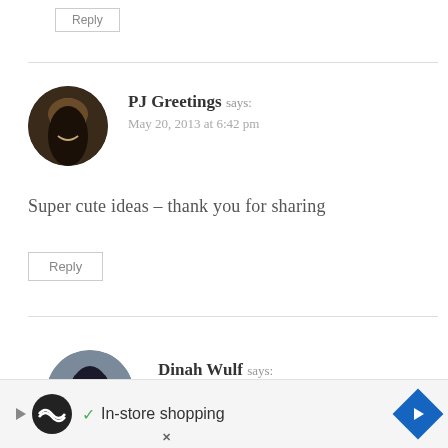Reply
PJ Greetings says:
May 20, 2013 at 6:42 pm
Super cute ideas – thank you for sharing
Reply
Dinah Wulf says:
May 20, 2013 at 9:30 pm
[Figure (other): Advertisement banner: In-store shopping ad with play icon, circular logo, checkmark, text 'In-store shopping', and blue arrow button]